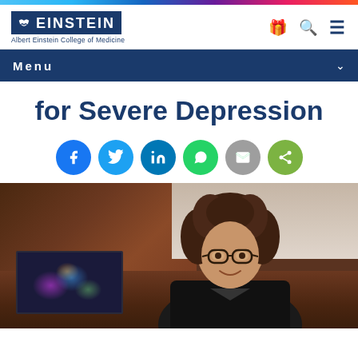[Figure (logo): Albert Einstein College of Medicine logo with blue background and bird icon]
Menu
for Severe Depression
[Figure (infographic): Social sharing buttons: Facebook, Twitter, LinkedIn, WhatsApp, Email, Share]
[Figure (photo): A woman with curly dark hair and glasses smiling, standing in an office with a computer screen showing colorful brain graphics in the background]